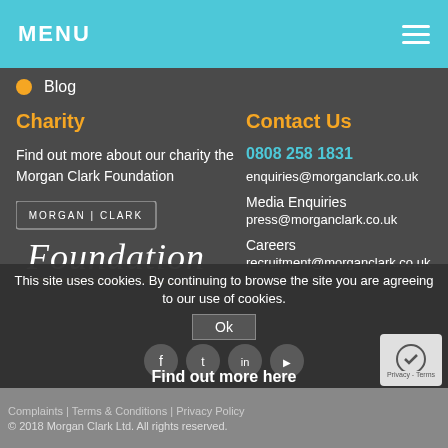MENU
Blog
Charity
Find out more about our charity the Morgan Clark Foundation
[Figure (logo): Morgan Clark Foundation logo with text 'MORGAN | CLARK' at top and 'Foundation' in decorative script below, with yellow underline]
Contact Us
0808 258 1831
enquiries@morganclark.co.uk
Media Enquiries
press@morganclark.co.uk
Careers
recruitment@morganclark.co.uk
This site uses cookies. By continuing to browse the site you are agreeing to our use of cookies.
Ok
Find out more here
Complaints | Terms & Conditions | Privacy Policy
© 2018 Morgan Clark Ltd. All rights reserved.